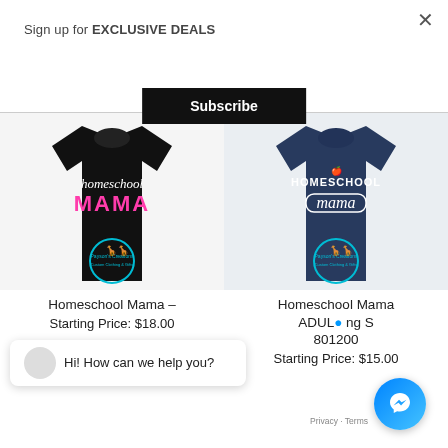Sign up for EXCLUSIVE DEALS
Subscribe
[Figure (photo): Black t-shirt with 'homeschool MAMA' text in pink and white, with Payson's Creations logo circle at bottom]
[Figure (photo): Navy blue t-shirt with 'HOMESCHOOL mama' text in white decorative font, with Payson's Creations logo circle at bottom]
Homeschool Mama –
Homeschool Mama ADUL ng S 801200
Hi! How can we help you?
Starting Price: $18.00
Starting Price: $15.00
Privacy · Terms